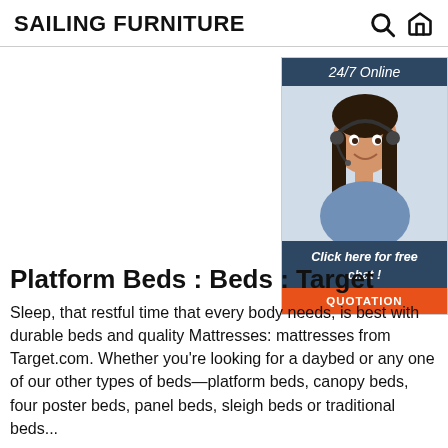SAILING FURNITURE
[Figure (photo): Advertisement banner with a woman wearing a headset smiling, dark navy header reading '24/7 Online', dark navy footer reading 'Click here for free chat!', and an orange button labeled 'QUOTATION']
Platform Beds : Beds : Target
Sleep, that restful time that every body needs, is best with durable beds and quality Mattresses: mattresses from Target.com. Whether you're looking for a daybed or any one of our other types of beds—platform beds, canopy beds, four poster beds, panel beds, sleigh beds or traditional beds...